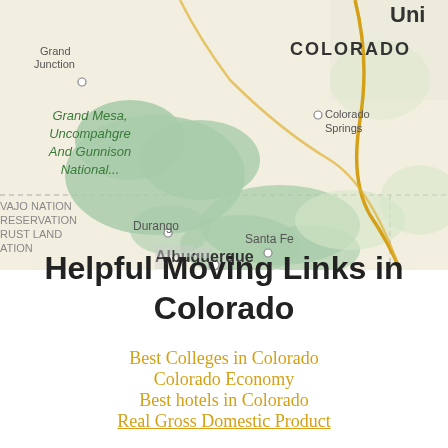[Figure (map): Map showing Colorado and surrounding areas including Grand Junction, Colorado Springs, Grand Mesa/Uncompahgre/Gunnison National Forest, Durango, Santa Fe, Albuquerque, and Navajo Nation Reservation Trust Land. Tan/beige background with green forested areas and yellow roads. State border of Colorado visible at top.]
Helpful Moving Links in Colorado
Best Colleges in Colorado
Colorado Economy
Best hotels in Colorado
Real Gross Domestic Product